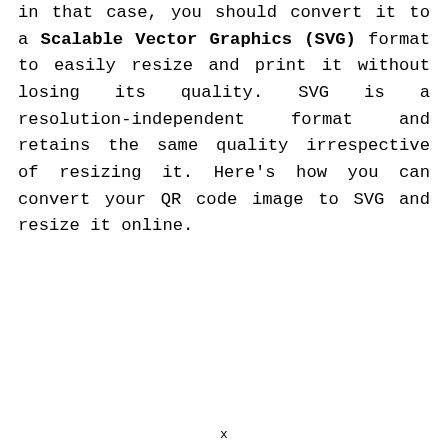in that case, you should convert it to a Scalable Vector Graphics (SVG) format to easily resize and print it without losing its quality. SVG is a resolution-independent format and retains the same quality irrespective of resizing it. Here's how you can convert your QR code image to SVG and resize it online.
x